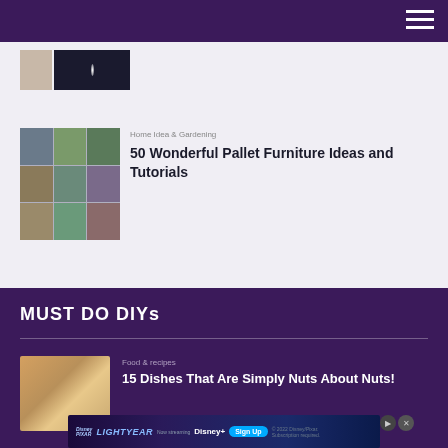[Figure (photo): Small thumbnail images at top: a light-colored photo and a dark image with a light beam]
Home Idea & Gardening
50 Wonderful Pallet Furniture Ideas and Tutorials
[Figure (photo): Grid collage of pallet furniture photos in a 3x3 layout]
MUST DO DIYs
Food & recipes
15 Dishes That Are Simply Nuts About Nuts!
[Figure (photo): Photo of food dishes with nuts, showing plates with food items]
Disney Pixar Lightyear — Now streaming — Sign Up — Disney+